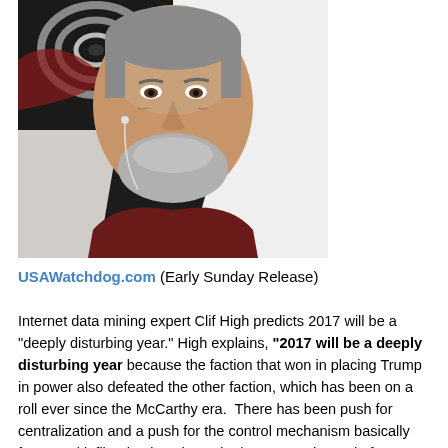[Figure (photo): Headshot of an older bearded man with short gray beard and gray hair, wearing a dark red shirt, with earbuds, in front of a black and white/red artistic backdrop.]
USAWatchdog.com (Early Sunday Release)
Internet data mining expert Clif High predicts 2017 will be a “deeply disturbing year.” High explains, “2017 will be a deeply disturbing year because the faction that won in placing Trump in power also defeated the other faction, which has been on a roll ever since the McCarthy era.  There has been push for centralization and a push for the control mechanism basically from Nazi infiltration into the United States at the end of WWII.  Tens of thousands came in and infiltrated the infrastructure of the United States.  So, we saw a push with the centralization of government, and if the Clinton faction had won, we would have seen a Hitler type of nexus where banking, political and military power would have been centrally joined. . . . That faction has been defeated, and 70 plus years of directing the global narrative is gone.  It’s crashed. . . . . We are in a narrative vacuum at the